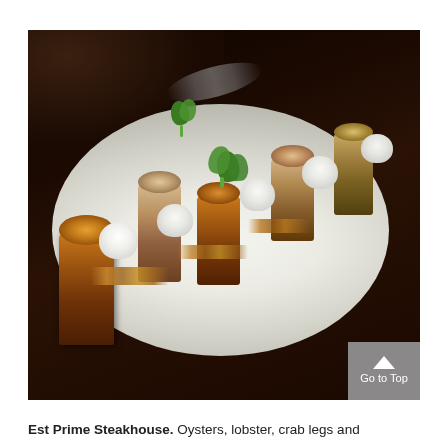[Figure (photo): Restaurant food photo showing a white oval plate with roasted or grilled cylindrical food items (possibly banana or bone marrow), white cream dollops, scattered brown crumbles, and fresh green herb garnish (mint leaves). The plate is set on a dark brown table in a dim restaurant setting.]
Est Prime Steakhouse. Oysters, lobster, crab legs and